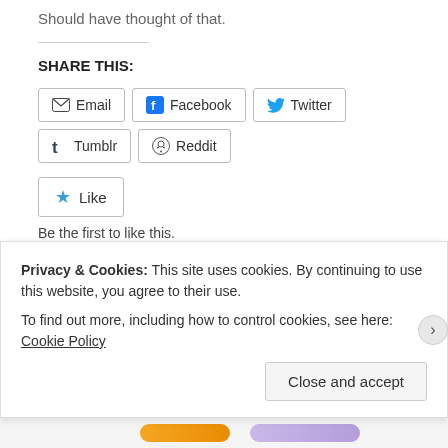Should have thought of that.
SHARE THIS:
Email  Facebook  Twitter  Tumblr  Reddit
Like
Be the first to like this.
Posted in Blogging, Business Analysis, Resources, Tools, Web 2.0    3 Comments
Tagged blog, blog directories, blog promotion,
Privacy & Cookies: This site uses cookies. By continuing to use this website, you agree to their use. To find out more, including how to control cookies, see here: Cookie Policy
Close and accept